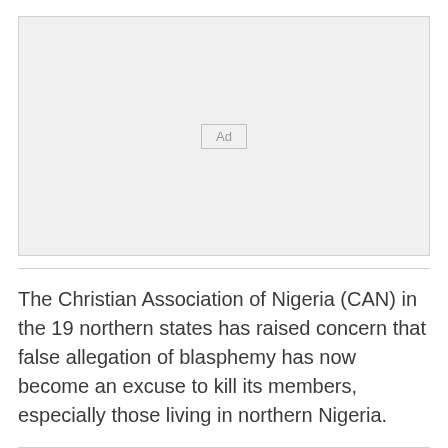[Figure (other): Advertisement placeholder box with 'Ad' label in center]
The Christian Association of Nigeria (CAN) in the 19 northern states has raised concern that false allegation of blasphemy has now become an excuse to kill its members, especially those living in northern Nigeria.